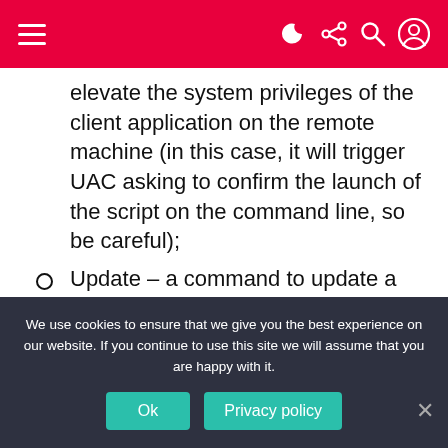Navigation bar with hamburger menu and icons
elevate the system privileges of the client application on the remote machine (in this case, it will trigger UAC asking to confirm the launch of the script on the command line, so be careful);
Update – a command to update a client: select a client file on the local machine or specify the URL of its location on the Internet, select a client in the list and click Execute Remotely;
Reconnect – resume connection with the remote
We use cookies to ensure that we give you the best experience on our website. If you continue to use this site we will assume that you are happy with it.